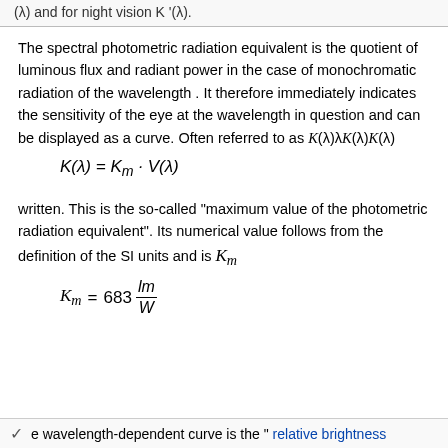(λ) and for night vision K '(λ).
The spectral photometric radiation equivalent is the quotient of luminous flux and radiant power in the case of monochromatic radiation of the wavelength . It therefore immediately indicates the sensitivity of the eye at the wavelength in question and can be displayed as a curve. Often referred to as K(λ)λK(λ)K(λ)
written. This is the so-called "maximum value of the photometric radiation equivalent". Its numerical value follows from the definition of the SI units and is K_m
e wavelength-dependent curve is the " relative brightness